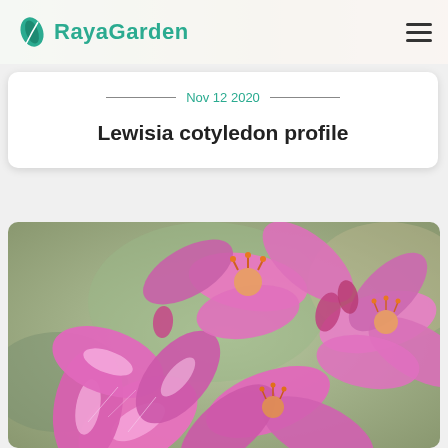RayaGarden
Nov 12 2020
Lewisia cotyledon profile
[Figure (photo): Close-up photo of pink Lewisia cotyledon flowers with multiple petals and orange stamens, set against a blurred green background.]